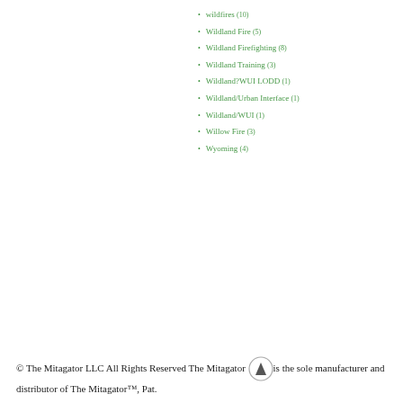wildfires (10)
Wildland Fire (5)
Wildland Firefighting (8)
Wildland Training (3)
Wildland?WUI LODD (1)
Wildland/Urban Interface (1)
Wildland/WUI (1)
Willow Fire (3)
Wyoming (4)
© The Mitagator LLC All Rights Reserved The Mitagator LLC is the sole manufacturer and distributor of The Mitagator™, Pat.